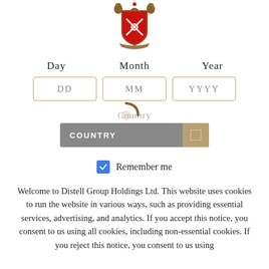[Figure (logo): Distell Group Holdings coat of arms / crest logo featuring a red shield with crossed anchors, flanked by lions, with a banner below, rendered in red, gold, and brown.]
Day   Month   Year
DD   MM   YYYY
Country
COUNTRY
Remember me
Welcome to Distell Group Holdings Ltd. This website uses cookies to run the website in various ways, such as providing essential services, advertising, and analytics. If you accept this notice, you consent to us using all cookies, including non-essential cookies. If you reject this notice, you consent to us using